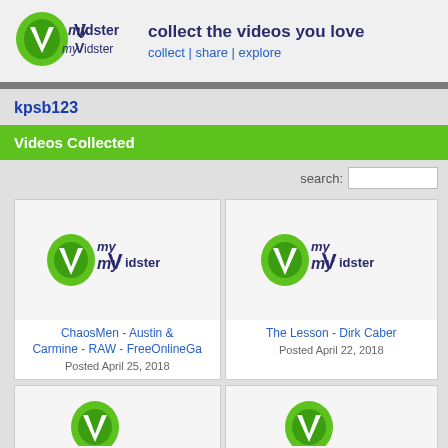[Figure (logo): myVidster logo with green leaf/V icon and stylized text]
collect the videos you love
collect | share | explore
kpsb123
Videos Collected
search:
[Figure (logo): myVidster logo placeholder thumbnail for ChaosMen video]
ChaosMen - Austin & Carmine - RAW - FreeOnlineGa
Posted April 25, 2018
[Figure (logo): myVidster logo placeholder thumbnail for The Lesson video]
The Lesson - Dirk Caber
Posted April 22, 2018
[Figure (logo): myVidster logo placeholder thumbnail (partial, bottom left)]
[Figure (logo): myVidster logo placeholder thumbnail (partial, bottom right)]